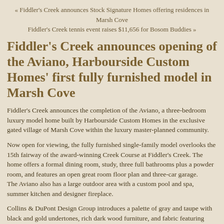« Fiddler's Creek announces Stock Signature Homes offering residences in Marsh Cove
Fiddler's Creek tennis event raises $11,656 for Bosom Buddies »
Fiddler's Creek announces opening of the Aviano, Harbourside Custom Homes' first fully furnished model in Marsh Cove
Fiddler's Creek announces the completion of the Aviano, a three-bedroom luxury model home built by Harbourside Custom Homes in the exclusive gated village of Marsh Cove within the luxury master-planned community.
Now open for viewing, the fully furnished single-family model overlooks the 15th fairway of the award-winning Creek Course at Fiddler's Creek. The home offers a formal dining room, study, three full bathrooms plus a powder room, and features an open great room floor plan and three-car garage.
The Aviano also has a large outdoor area with a custom pool and spa, summer kitchen and designer fireplace.
Collins & DuPont Design Group introduces a palette of gray and taupe with black and gold undertones, rich dark wood furniture, and fabric featuring artwork and patterns that echo the swirls and movement of the Aviano's granite and quartzite countertops and wide-plank oak wood flooring. Pale-gray painted walls, paired with crisp white trim and the grayed driftwood floor, continues throughout the main gathering areas in